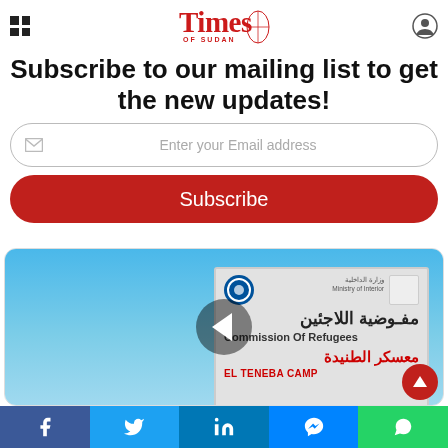Times of Sudan
With every purchase
Subscribe to our mailing list to get the new updates!
Enter your Email address
Subscribe
[Figure (photo): Photo showing a sign board in Arabic and English reading 'Commission of Refugees / El Teneba Camp' with UNHCR logo, against a blue sky background. A left-pointing arrow navigation button overlays the centre of the image.]
Facebook | Twitter | LinkedIn | Messenger | WhatsApp